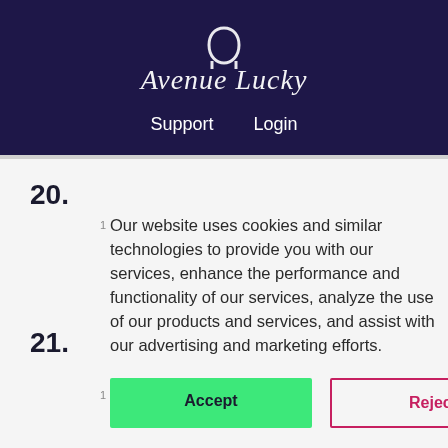[Figure (logo): Avenue Lucky logo with horseshoe icon on dark navy background]
Support    Login
20.
Our website uses cookies and similar technologies to provide you with our services, enhance the performance and functionality of our services, analyze the use of our products and services, and assist with our advertising and marketing efforts.
21.